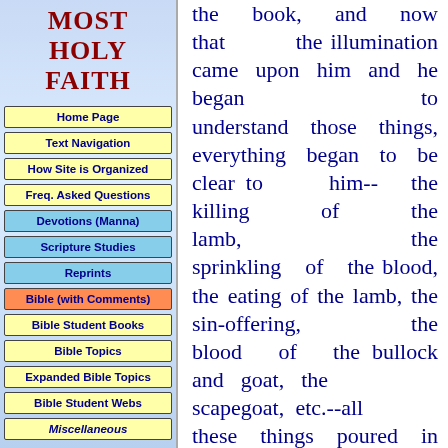MOST HOLY FAITH
Home Page
Text Navigation
How Site is Organized
Freq. Asked Questions
Devotions (Manna)
Scripture Studies
Reprints
Bible (with Comments)
Bible Student Books
Bible Topics
Expanded Bible Topics
Bible Student Webs
Miscellaneous
the book, and now that the illumination came upon him and he began to understand those things, everything began to be clear to him-- the killing of the lamb, the sprinkling of the blood, the eating of the lamb, the sin-offering, the blood of the bullock and goat, the scapegoat, etc.--all these things poured in upon him, all